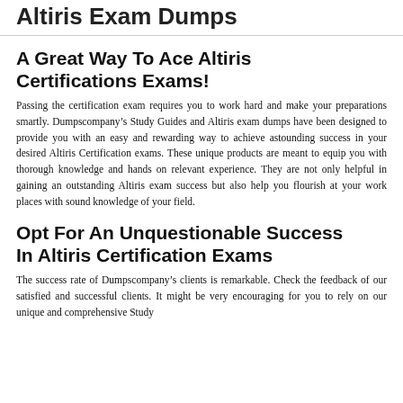Altiris Exam Dumps
A Great Way To Ace Altiris Certifications Exams!
Passing the certification exam requires you to work hard and make your preparations smartly. Dumpscompany’s Study Guides and Altiris exam dumps have been designed to provide you with an easy and rewarding way to achieve astounding success in your desired Altiris Certification exams. These unique products are meant to equip you with thorough knowledge and hands on relevant experience. They are not only helpful in gaining an outstanding Altiris exam success but also help you flourish at your work places with sound knowledge of your field.
Opt For An Unquestionable Success In Altiris Certification Exams
The success rate of Dumpscompany’s clients is remarkable. Check the feedback of our satisfied and successful clients. It might be very encouraging for you to rely on our unique and comprehensive Study